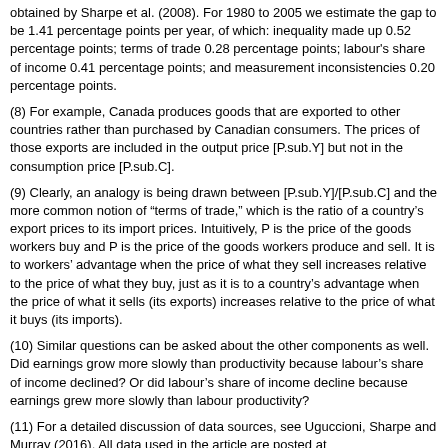obtained by Sharpe et al. (2008). For 1980 to 2005 we estimate the gap to be 1.41 percentage points per year, of which: inequality made up 0.52 percentage points; terms of trade 0.28 percentage points; labour's share of income 0.41 percentage points; and measurement inconsistencies 0.20 percentage points.
(8) For example, Canada produces goods that are exported to other countries rather than purchased by Canadian consumers. The prices of those exports are included in the output price [P.sub.Y] but not in the consumption price [P.sub.C].
(9) Clearly, an analogy is being drawn between [P.sub.Y]/[P.sub.C] and the more common notion of "terms of trade," which is the ratio of a country's export prices to its import prices. Intuitively, P is the price of the goods workers buy and P is the price of the goods workers produce and sell. It is to workers' advantage when the price of what they sell increases relative to the price of what they buy, just as it is to a country's advantage when the price of what it sells (its exports) increases relative to the price of what it buys (its imports).
(10) Similar questions can be asked about the other components as well. Did earnings grow more slowly than productivity because labour's share of income declined? Or did labour's share of income decline because earnings grew more slowly than labour productivity?
(11) For a detailed discussion of data sources, see Uguccioni, Sharpe and Murray (2016). All data used in the article are posted at http://csls.ca/reports/csls2016-16-DataAppendix.pdf.
(12) Although the annual growth rates of median hourly earnings in the CMP and the LFS are similar for the 1997-2014 period, this 2.44...